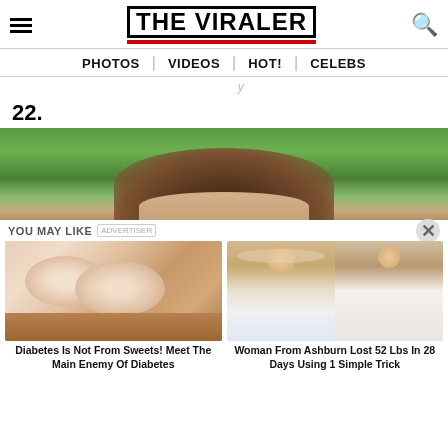THE VIRALER — PHOTOS | VIDEOS | HOT! | CELEBS
22.
[Figure (photo): Partial view of a person with brown hair against a green leafy background, only the top of the head visible.]
YOU MAY LIKE [ADVERTISER]
[Figure (photo): Raw chicken breasts on a wooden cutting board.]
Diabetes Is Not From Sweets! Meet The Main Enemy Of Diabetes
[Figure (photo): Before and after photos of a woman in a wedding dress who lost weight.]
Woman From Ashburn Lost 52 Lbs In 28 Days Using 1 Simple Trick